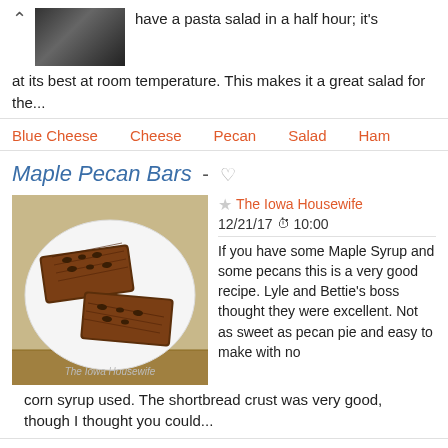have a pasta salad in a half hour; it's at its best at room temperature. This makes it a great salad for the...
Blue Cheese   Cheese   Pecan   Salad   Ham
Maple Pecan Bars -
[Figure (photo): Photo of Maple Pecan Bars on a white plate, captioned 'The Iowa Housewife']
The Iowa Housewife
12/21/17 10:00
If you have some Maple Syrup and some pecans this is a very good recipe. Lyle and Bettie's boss thought they were excellent. Not as sweet as pecan pie and easy to make with no corn syrup used. The shortbread crust was very good, though I thought you could...
Pecan   Bar